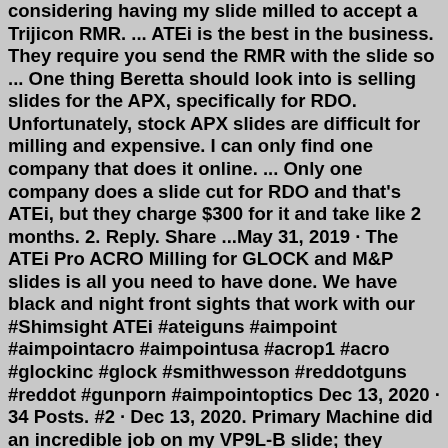considering having my slide milled to accept a Trijicon RMR. ... ATEi is the best in the business. They require you send the RMR with the slide so ... One thing Beretta should look into is selling slides for the APX, specifically for RDO. Unfortunately, stock APX slides are difficult for milling and expensive. I can only find one company that does it online. ... Only one company does a slide cut for RDO and that's ATEi, but they charge $300 for it and take like 2 months. 2. Reply. Share ...May 31, 2019 · The ATEi Pro ACRO Milling for GLOCK and M&P slides is all you need to have done. We have black and night front sights that work with our #Shimsight ATEi #ateiguns #aimpoint #aimpointacro #aimpointusa #acrop1 #acro #glockinc #glock #smithwesson #reddotguns #reddot #gunporn #aimpointoptics Dec 13, 2020 · 34 Posts. #2 · Dec 13, 2020. Primary Machine did an incredible job on my VP9L-B slide; they milled it specifically for the 507c V2 I sent them, had the slide refinished in black nitride and added Dawson